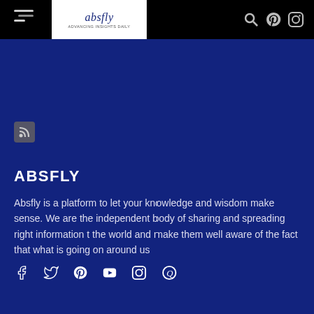[Figure (logo): absfly logo in white box with italic text and tagline]
[Figure (illustration): RSS feed icon - small rounded square with RSS symbol]
ABSFLY
Absfly is a platform to let your knowledge and wisdom make sense. We are the independent body of sharing and spreading right information t the world and make them well aware of the fact that what is going on around us
[Figure (illustration): Social media icons row: Facebook, Twitter, Pinterest, YouTube, Instagram, Quora]